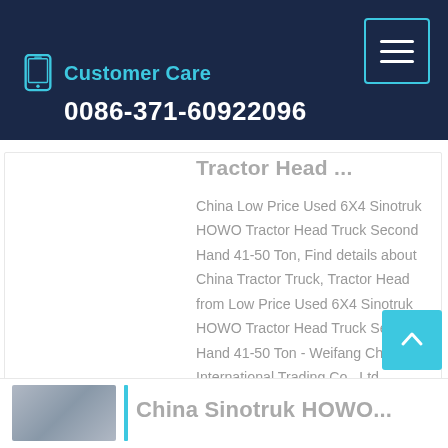Customer Care 0086-371-60922096
Tractor Head ...
China Low Price Used 6X4 Sinotruk HOWO Tractor Head Truck Second Hand 41-50 Ton, Find details about China Tractor Truck, Tractor Head from Low Price Used 6X4 Sinotruk HOWO Tractor Head Truck Second Hand 41-50 Ton - Weifang Changjiu International Trading Co., Ltd.
Learn More
China Sinotruk HOWO...